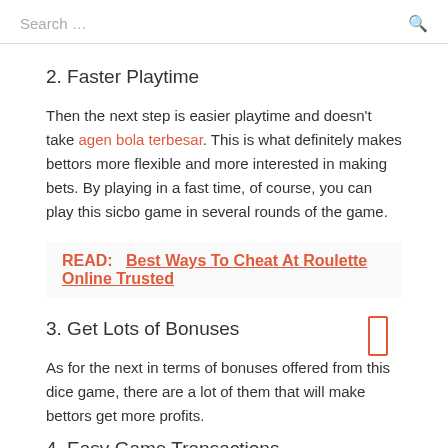Search …
2. Faster Playtime
Then the next step is easier playtime and doesn't take agen bola terbesar. This is what definitely makes bettors more flexible and more interested in making bets. By playing in a fast time, of course, you can play this sicbo game in several rounds of the game.
READ:   Best Ways To Cheat At Roulette Online Trusted
3. Get Lots of Bonuses
As for the next in terms of bonuses offered from this dice game, there are a lot of them that will make bettors get more profits.
4. Easy Game Transactions